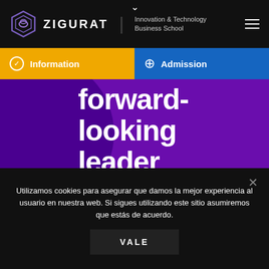[Figure (logo): Zigurat Innovation & Technology Business School logo with hexagonal icon]
Information
Admission
forward-looking leader
One that is digitally savvy and is able to adapt to a changing and demanding market. Have a clear understanding of how innovative methodologies work
Utilizamos cookies para asegurar que damos la mejor experiencia al usuario en nuestra web. Si sigues utilizando este sitio asumiremos que estás de acuerdo.
VALE